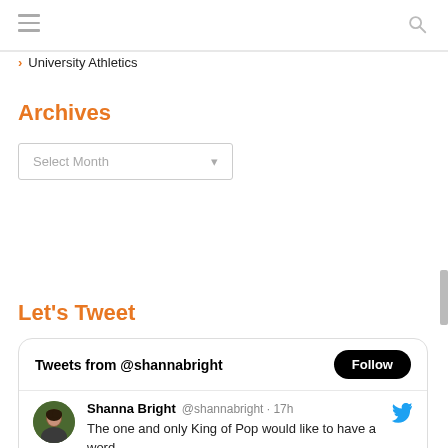University Athletics
Archives
Select Month
Let's Tweet
Tweets from @shannabright  Follow
Shanna Bright @shannabright · 17h  The one and only King of Pop would like to have a word....